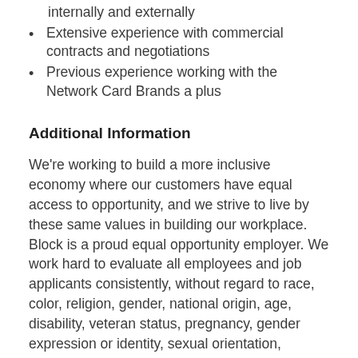internally and externally
Extensive experience with commercial contracts and negotiations
Previous experience working with the Network Card Brands a plus
Additional Information
We're working to build a more inclusive economy where our customers have equal access to opportunity, and we strive to live by these same values in building our workplace. Block is a proud equal opportunity employer. We work hard to evaluate all employees and job applicants consistently, without regard to race, color, religion, gender, national origin, age, disability, veteran status, pregnancy, gender expression or identity, sexual orientation, citizenship, or any other legally protected class.
We believe in being fair, and are committed to an inclusive interview experience, including providing reasonable accommodations to disabled applicants throughout the recruitment process. We encourage applicants to share any needed accommodations with their recruiter, who will treat those